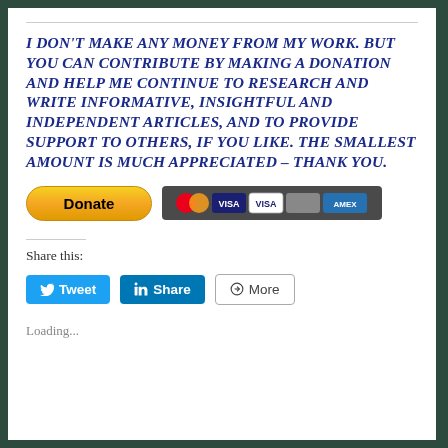I DON'T MAKE ANY MONEY FROM MY WORK. BUT YOU CAN CONTRIBUTE BY MAKING A DONATION AND HELP ME CONTINUE TO RESEARCH AND WRITE INFORMATIVE, INSIGHTFUL AND INDEPENDENT ARTICLES, AND TO PROVIDE SUPPORT TO OTHERS, IF YOU LIKE. THE SMALLEST AMOUNT IS MUCH APPRECIATED – THANK YOU.
[Figure (other): PayPal Donate button (yellow pill-shaped) and credit card logos (Mastercard, Visa, American Express, Discover) on dark background]
Share this:
[Figure (other): Social share buttons: Tweet (Twitter/blue), Share (LinkedIn/blue), More (grey outline)]
Loading...